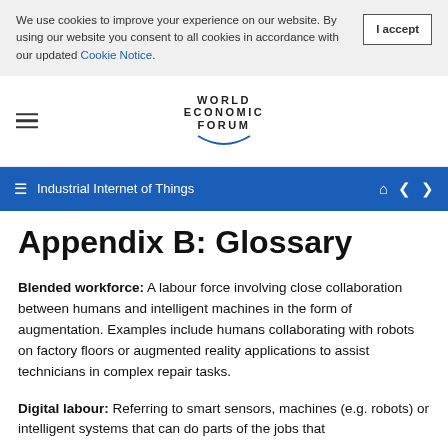We use cookies to improve your experience on our website. By using our website you consent to all cookies in accordance with our updated Cookie Notice.
Industrial Internet of Things
Appendix B: Glossary
Blended workforce: A labour force involving close collaboration between humans and intelligent machines in the form of augmentation. Examples include humans collaborating with robots on factory floors or augmented reality applications to assist technicians in complex repair tasks.
Digital labour: Referring to smart sensors, machines (e.g. robots) or intelligent systems that can do parts of the jobs that